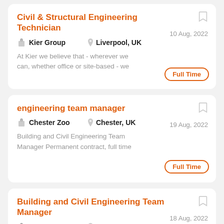Civil & Structural Engineering Technician
Kier Group | Liverpool, UK | Full Time | 10 Aug, 2022
At Kier we believe that - wherever we can, whether office or site-based - we
engineering team manager
Chester Zoo | Chester, UK | Full Time | 19 Aug, 2022
Building and Civil Engineering Team Manager Permanent contract, full time
Building and Civil Engineering Team Manager
Chester Zoo | Chester, UK | Full Time | 18 Aug, 2022